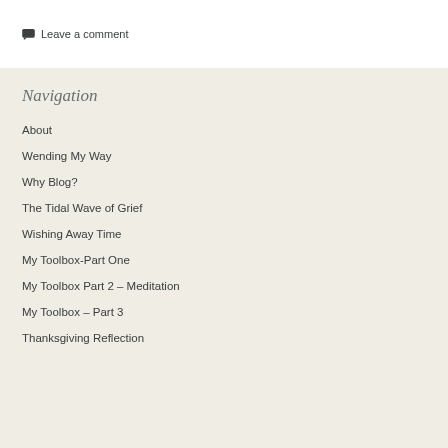💬 Leave a comment
Navigation
About
Wending My Way
Why Blog?
The Tidal Wave of Grief
Wishing Away Time
My Toolbox-Part One
My Toolbox Part 2 – Meditation
My Toolbox – Part 3
Thanksgiving Reflection